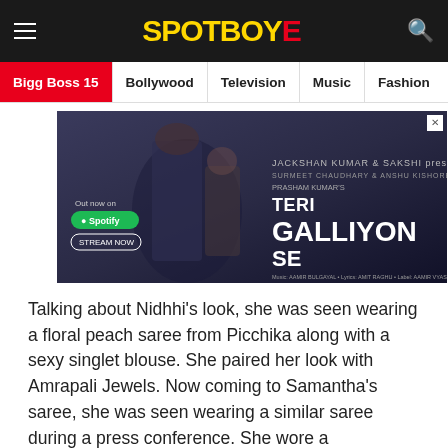SPOTBOYE
Bigg Boss 15 | Bollywood | Television | Music | Fashion
[Figure (photo): Advertisement banner for 'Teri Galliyon Se' song on Spotify featuring two people, a man in military uniform and a woman. Text reads: Out now on Spotify, Stream Now, Teri Galliyon Se, with production credits.]
Talking about Nidhhi's look, she was seen wearing a floral peach saree from Picchika along with a sexy singlet blouse. She paired her look with Amrapali Jewels. Now coming to Samantha's saree, she was seen wearing a similar saree during a press conference. She wore a customised Picchika saree with her movie name, 'Jaanu' written on it. She paired her beautiful saree with a halter blouse and with minimal jewellery. Considering Samantha always surprises us with her fashion choice, we are a little